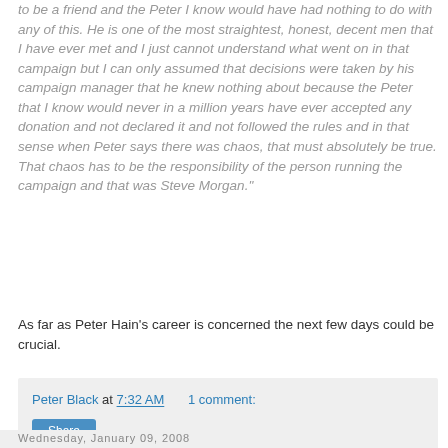to be a friend and the Peter I know would have had nothing to do with any of this. He is one of the most straightest, honest, decent men that I have ever met and I just cannot understand what went on in that campaign but I can only assumed that decisions were taken by his campaign manager that he knew nothing about because the Peter that I know would never in a million years have ever accepted any donation and not declared it and not followed the rules and in that sense when Peter says there was chaos, that must absolutely be true. That chaos has to be the responsibility of the person running the campaign and that was Steve Morgan."
As far as Peter Hain's career is concerned the next few days could be crucial.
Peter Black at 7:32 AM    1 comment:
Share
Wednesday, January 09, 2008